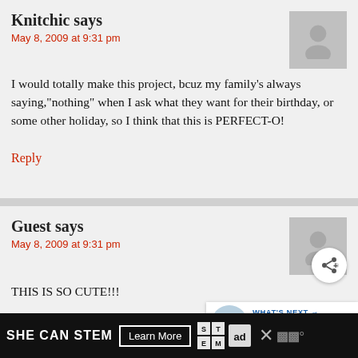Knitchic says
May 8, 2009 at 9:31 pm
I would totally make this project, bcuz my family's always saying,"nothing" when I ask what they want for their birthday, or some other holiday, so I think that this is PERFECT-O!
Reply
Guest says
May 8, 2009 at 9:31 pm
THIS IS SO CUTE!!!
Reply
Guest says
[Figure (infographic): SHE CAN STEM advertisement banner with Learn More button, STEM logo, ad council logo, X symbol, and weather icon]
[Figure (other): What's Next: Nail Polish Seashells promotional widget]